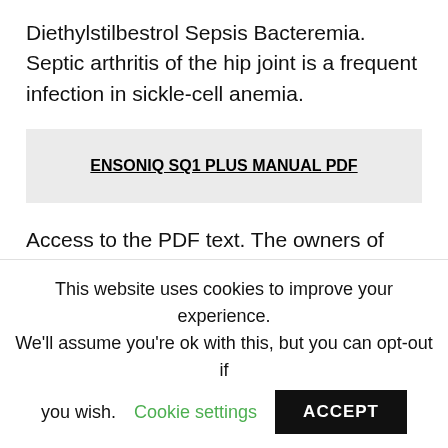Diethylstilbestrol Sepsis Bacteremia. Septic arthritis of the hip joint is a frequent infection in sickle-cell anemia.
ENSONIQ SQ1 PLUS MANUAL PDF
Access to the PDF text. The owners of this website hereby guarantee to respect the legal confidentiality
This website uses cookies to improve your experience. We'll assume you're ok with this, but you can opt-out if you wish. Cookie settings ACCEPT